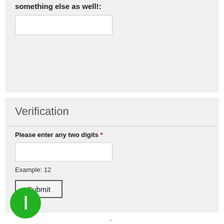something else as well!:
Verification
Please enter any two digits *
Example: 12
Submit
[Figure (other): Green circular button with a white vertical rectangle/bar icon in the center]
-